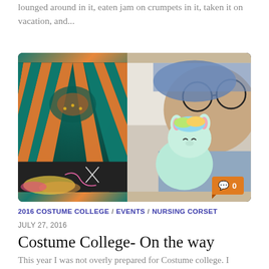lounged around in it, eaten jam on crumpets in it, taken it on vacation, and...
[Figure (photo): Two side-by-side photos: left shows a colorful teal and orange striped costume/dress laid out with sewing tools; right shows a person wearing glasses holding a pastel rainbow alpaca/llama plush toy. A comment badge with '0' is in the bottom-right corner.]
2016 COSTUME COLLEGE / EVENTS / NURSING CORSET
JULY 27, 2016
Costume College- On the way
This year I was not overly prepared for Costume college. I managed to power through jet lag from our family